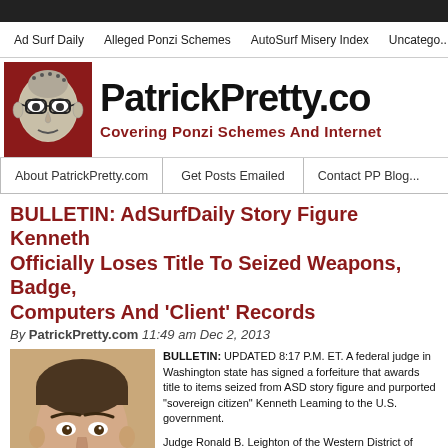Ad Surf Daily | Alleged Ponzi Schemes | AutoSurf Misery Index | Uncatego...
[Figure (logo): PatrickPretty.com website header with cartoon avatar logo and site title. Subtitle: Covering Ponzi Schemes And Internet...]
About PatrickPretty.com | Get Posts Emailed | Contact PP Blog...
BULLETIN: AdSurfDaily Story Figure Kenneth Officially Loses Title To Seized Weapons, Badge, Computers And 'Client' Records
By PatrickPretty.com 11:49 am Dec 2, 2013
[Figure (photo): Head and shoulders photo of a man with short dark hair against a light background.]
BULLETIN: UPDATED 8:17 P.M. ET. A federal judge in Washington state has signed a forfeiture that awards title to items seized from ASD story figure and purported "sovereign citizen" Kenneth Leaming to the U.S. government.

Judge Ronald B. Leighton of the Western District of Washington signed the order on Nov. 28, the anniversary date of Leaming's are...